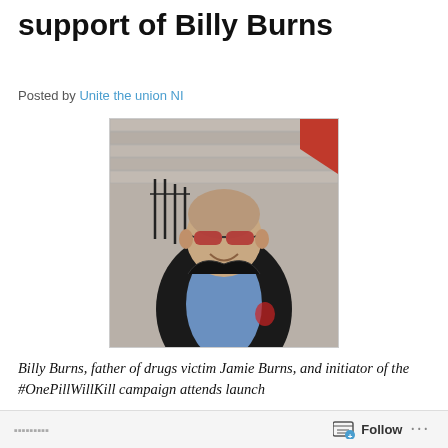support of Billy Burns
Posted by Unite the union NI
[Figure (photo): Billy Burns, a middle-aged man with a shaved head and red-tinted sunglasses, wearing a dark jacket over a blue shirt, standing in front of stone steps with iron railings and a red flag visible in the upper right corner.]
Billy Burns, father of drugs victim Jamie Burns, and initiator of the #OnePillWillKill campaign attends launch
Follow ...